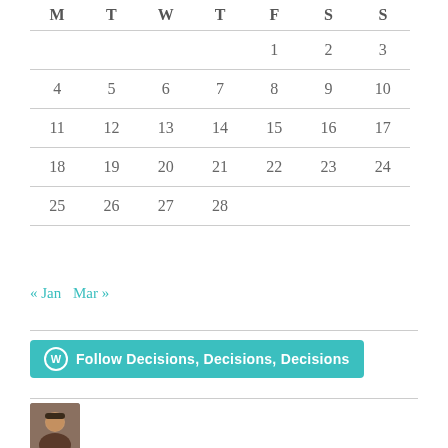| M | T | W | T | F | S | S |
| --- | --- | --- | --- | --- | --- | --- |
|  |  |  |  | 1 | 2 | 3 |
| 4 | 5 | 6 | 7 | 8 | 9 | 10 |
| 11 | 12 | 13 | 14 | 15 | 16 | 17 |
| 18 | 19 | 20 | 21 | 22 | 23 | 24 |
| 25 | 26 | 27 | 28 |  |  |  |
« Jan  Mar »
[Figure (other): WordPress Follow button: Follow Decisions, Decisions, Decisions]
[Figure (photo): Small avatar photo of a person]